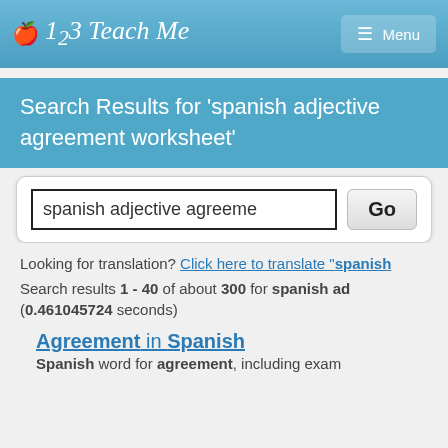123 Teach Me  Menu
Search Results for 'spanish adjective agreement worksheet'
[Figure (screenshot): Search input box containing text 'spanish adjective agreeme' with a Go button]
Looking for translation? Click here to translate "spanish
Search results 1 - 40 of about 300 for spanish ad (0.461045724 seconds)
Agreement in Spanish
Spanish word for agreement, including exam